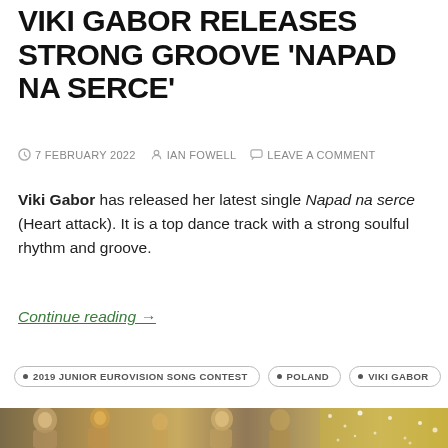VIKI GABOR RELEASES STRONG GROOVE 'NAPAD NA SERCE'
7 FEBRUARY 2022   IAN FOWELL   LEAVE A COMMENT
Viki Gabor has released her latest single Napad na serce (Heart attack). It is a top dance track with a strong soulful rhythm and groove.
Continue reading →
• 2019 JUNIOR EUROVISION SONG CONTEST   • POLAND   • VIKI GABOR
[Figure (photo): Bottom strip showing stained glass figures and golden sparkle lights background]